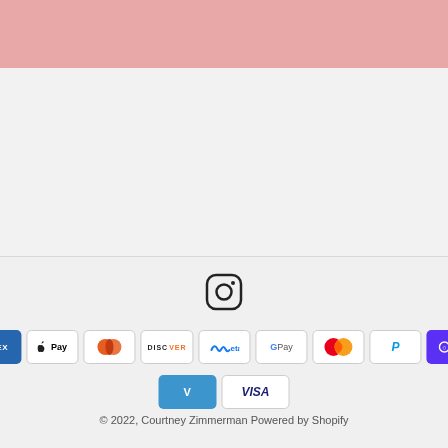[Figure (illustration): Pink banner at top of page]
[Figure (logo): Instagram icon - rounded square with camera outline]
[Figure (infographic): Payment method badges: American Express, Apple Pay, Diners Club, Discover, Meta Pay, Google Pay, Mastercard, PayPal, Shop Pay, Venmo, Visa]
© 2022, Courtney Zimmerman Powered by Shopify